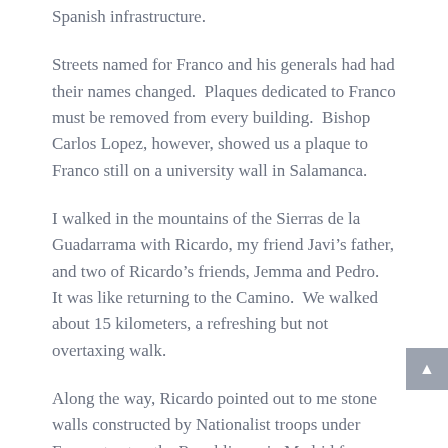Spanish infrastructure.
Streets named for Franco and his generals had had their names changed.  Plaques dedicated to Franco must be removed from every building.  Bishop Carlos Lopez, however, showed us a plaque to Franco still on a university wall in Salamanca.
I walked in the mountains of the Sierras de la Guadarrama with Ricardo, my friend Javi's father, and two of Ricardo's friends, Jemma and Pedro.  It was like returning to the Camino.  We walked about 15 kilometers, a refreshing but not overtaxing walk.
Along the way, Ricardo pointed out to me stone walls constructed by Nationalist troops under Franco to stop the Republicans in Madrid from breaking out of the nation's capital.  I stood by the walls, realizing their history and significance.